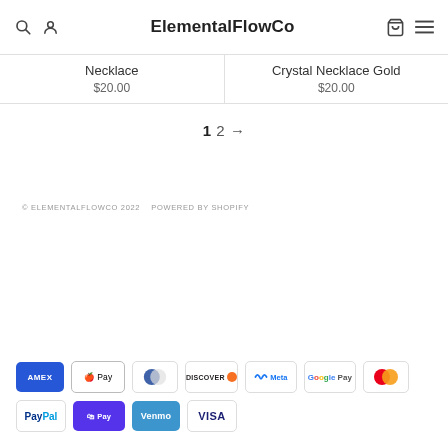ElementalFlowCo
Necklace
$20.00
Crystal Necklace Gold
$20.00
1  2  →
© ELEMENTALFLOWCO 2022   POWERED BY SHOPIFY
[Figure (other): Payment method icons: American Express, Apple Pay, Diners Club, Discover, Meta Pay, Google Pay, Mastercard, PayPal, Shop Pay, Venmo, Visa]